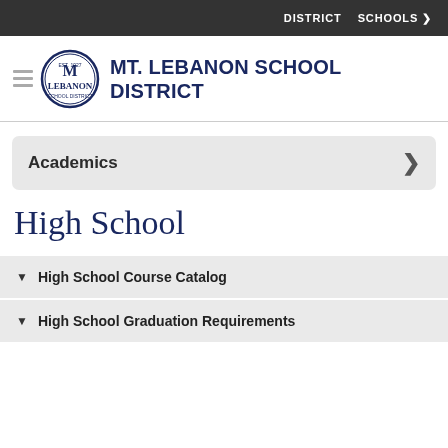DISTRICT   SCHOOLS ❯
MT. LEBANON SCHOOL DISTRICT
Academics ❯
High School
High School Course Catalog
High School Graduation Requirements